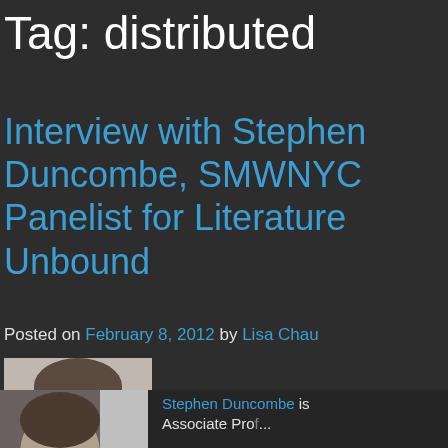Tag: distributed
Interview with Stephen Duncombe, SMWNYC Panelist for Literature Unbound
Posted on February 8, 2012 by Lisa Chau
[Figure (photo): Portrait photo of Stephen Duncombe, a man with glasses and a beard wearing a dark sweater, shown from shoulders up against a light background.]
[Figure (photo): Partial bottom photo, cropped, showing a person's head and another image segment.]
Stephen Duncombe is Associate Professor...